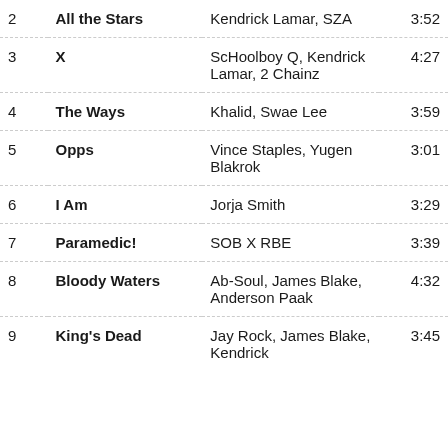| # | Title | Artists | Duration |
| --- | --- | --- | --- |
| 2 | All the Stars | Kendrick Lamar, SZA | 3:52 |
| 3 | X | ScHoolboy Q, Kendrick Lamar, 2 Chainz | 4:27 |
| 4 | The Ways | Khalid, Swae Lee | 3:59 |
| 5 | Opps | Vince Staples, Yugen Blakrok | 3:01 |
| 6 | I Am | Jorja Smith | 3:29 |
| 7 | Paramedic! | SOB X RBE | 3:39 |
| 8 | Bloody Waters | Ab-Soul, James Blake, Anderson Paak | 4:32 |
| 9 | King's Dead | Jay Rock, James Blake, Kendrick | 3:45 |